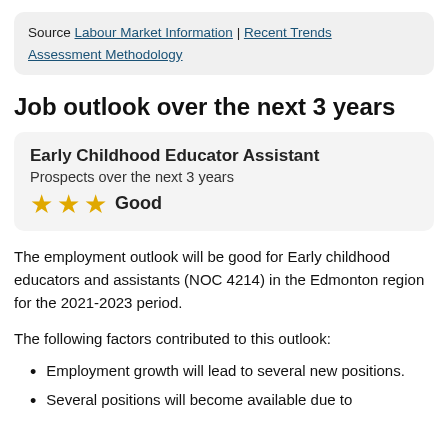Source Labour Market Information | Recent Trends Assessment Methodology
Job outlook over the next 3 years
Early Childhood Educator Assistant
Prospects over the next 3 years
★★★ Good
The employment outlook will be good for Early childhood educators and assistants (NOC 4214) in the Edmonton region for the 2021-2023 period.
The following factors contributed to this outlook:
Employment growth will lead to several new positions.
Several positions will become available due to